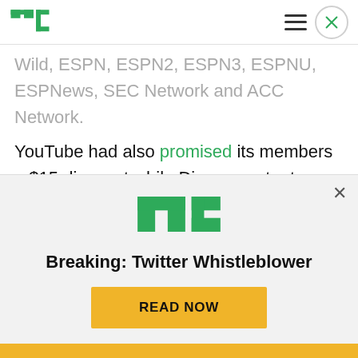TechCrunch logo, hamburger menu, close button
Wild, ESPN, ESPN2, ESPN3, ESPNU, ESPNews, SEC Network and ACC Network.
YouTube had also promised its members a $15 discount while Disney content remained off its platform, as a result of the contractual dispute. Even though Disney's programming had only been removed for a day, YouTube announced on Sunday
[Figure (logo): TechCrunch TC logo in green]
Breaking: Twitter Whistleblower
READ NOW